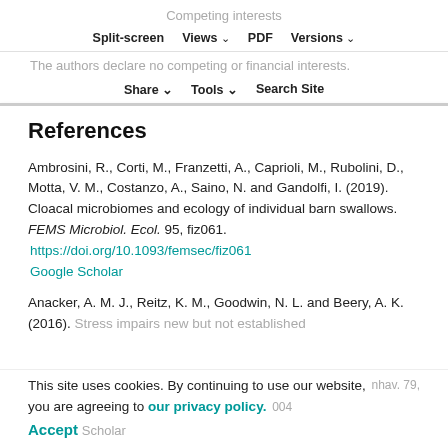Competing interests
Split-screen   Views   PDF   Versions
The authors declare no competing or financial interests.
Share   Tools   Search Site
References
Ambrosini, R., Corti, M., Franzetti, A., Caprioli, M., Rubolini, D., Motta, V. M., Costanzo, A., Saino, N. and Gandolfi, I. (2019). Cloacal microbiomes and ecology of individual barn swallows. FEMS Microbiol. Ecol. 95, fiz061. https://doi.org/10.1093/femsec/fiz061 Google Scholar
Anacker, A. M. J., Reitz, K. M., Goodwin, N. L. and Beery, A. K. (2016). Stress impairs new but not established ... Behav. 79, ...004 Google Scholar
This site uses cookies. By continuing to use our website, you are agreeing to our privacy policy. Accept